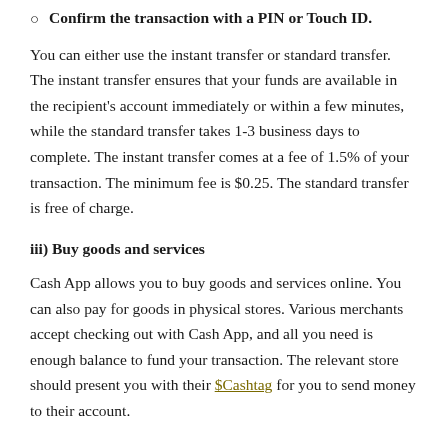Confirm the transaction with a PIN or Touch ID.
You can either use the instant transfer or standard transfer. The instant transfer ensures that your funds are available in the recipient's account immediately or within a few minutes, while the standard transfer takes 1-3 business days to complete. The instant transfer comes at a fee of 1.5% of your transaction. The minimum fee is $0.25. The standard transfer is free of charge.
iii) Buy goods and services
Cash App allows you to buy goods and services online. You can also pay for goods in physical stores. Various merchants accept checking out with Cash App, and all you need is enough balance to fund your transaction. The relevant store should present you with their $Cashtag for you to send money to their account.